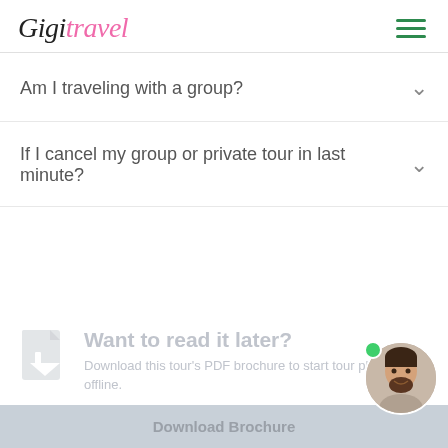GigiTravel
Am I traveling with a group?
If I cancel my group or private tour in last minute?
[Figure (infographic): Download PDF brochure CTA section with document icon, heading 'Want to read it later?', subtitle 'Download this tour's PDF brochure to start tour planning offline.', avatar of a man with green online dot, and a 'Download Brochure' button.]